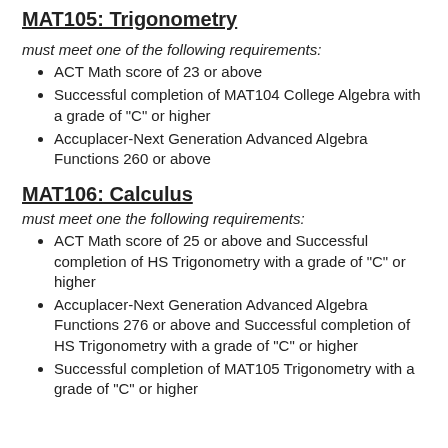MAT105: Trigonometry
must meet one of the following requirements:
ACT Math score of 23 or above
Successful completion of MAT104 College Algebra with a grade of "C" or higher
Accuplacer-Next Generation Advanced Algebra Functions 260 or above
MAT106: Calculus
must meet one the following requirements:
ACT Math score of 25 or above and Successful completion of HS Trigonometry with a grade of "C" or higher
Accuplacer-Next Generation Advanced Algebra Functions 276 or above and Successful completion of HS Trigonometry with a grade of "C" or higher
Successful completion of MAT105 Trigonometry with a grade of "C" or higher